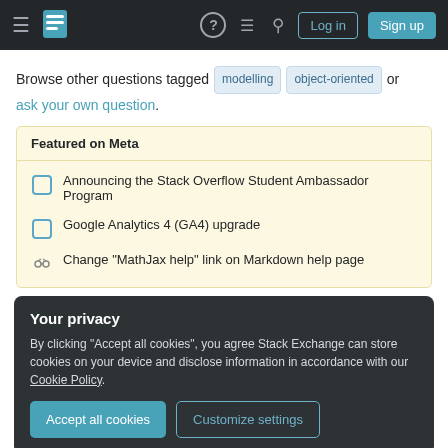Stack Exchange navigation bar with hamburger menu, logo, help, chat, search icons, Log in and Sign up buttons
Browse other questions tagged modelling object-oriented or ask your own question.
Featured on Meta
Announcing the Stack Overflow Student Ambassador Program
Google Analytics 4 (GA4) upgrade
Change "MathJax help" link on Markdown help page
Your privacy
By clicking "Accept all cookies", you agree Stack Exchange can store cookies on your device and disclose information in accordance with our Cookie Policy.
Accept all cookies    Customize settings
6  Which object-oriented programming language is the closest to